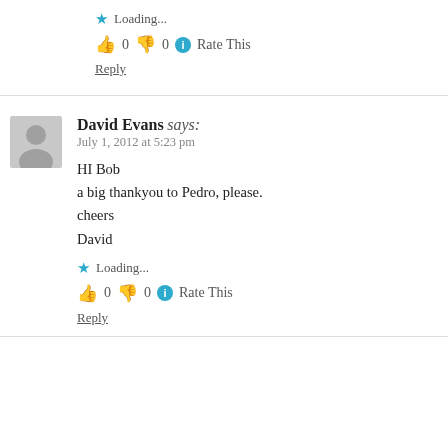★ Loading...
👍 0 👎 0 ℹ Rate This
Reply
David Evans says: July 1, 2012 at 5:23 pm
HI Bob
a big thankyou to Pedro, please.
cheers
David
★ Loading...
👍 0 👎 0 ℹ Rate This
Reply